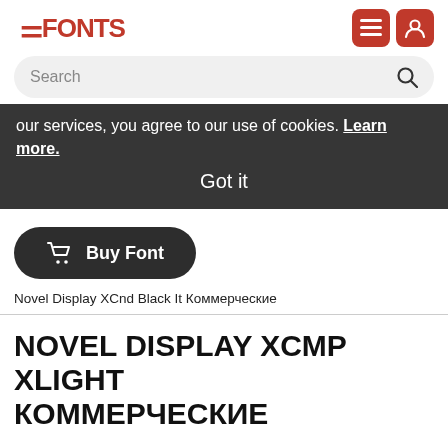FFONTS
Search
our services, you agree to our use of cookies. Learn more.
Got it
[Figure (other): Buy Font button with shopping cart icon]
Novel Display XCnd Black It Коммерческие
NOVEL DISPLAY XCMP XLIGHT КОММЕРЧЕСКИЕ